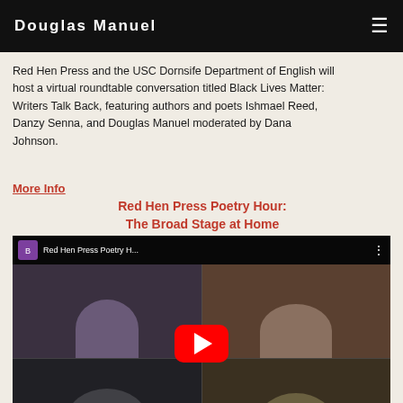Douglas Manuel
Red Hen Press and the USC Dornsife Department of English will host a virtual roundtable conversation titled Black Lives Matter: Writers Talk Back, featuring authors and poets Ishmael Reed, Danzy Senna, and Douglas Manuel moderated by Dana Johnson.
More Info
Red Hen Press Poetry Hour: The Broad Stage at Home
[Figure (screenshot): YouTube video thumbnail showing a video titled 'Red Hen Press Poetry H...' with four participants in a video call grid (2x2). A red YouTube play button is overlaid in the center. The Broad Stage logo appears in the top bar.]